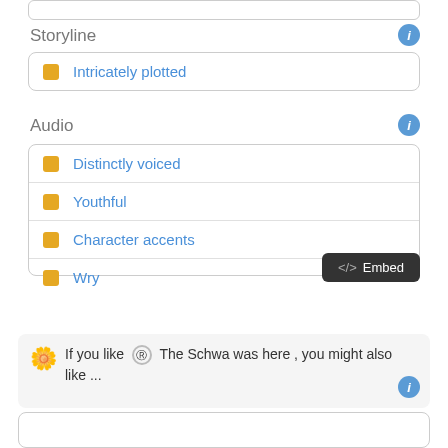Storyline
Intricately plotted
Audio
Distinctly voiced
Youthful
Character accents
Wry
<> Embed
If you like Ⓢ The Schwa was here , you might also like ...